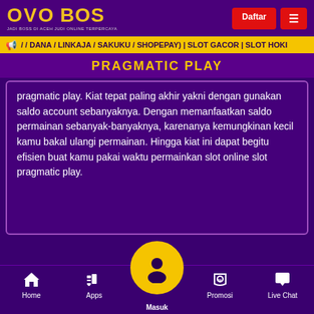[Figure (logo): OVO BOS logo in gold text with tagline]
/ / DANA / LINKAJA / SAKUKU / SHOPEPAY) | SLOT GACOR | SLOT HOKI
PRAGMATIC PLAY
pragmatic play. Kiat tepat paling akhir yakni dengan gunakan saldo account sebanyaknya. Dengan memanfaatkan saldo permainan sebanyak-banyaknya, karenanya kemungkinan kecil kamu bakal ulangi permainan. Hingga kiat ini dapat begitu efisien buat kamu pakai waktu permainkan slot online slot pragmatic play.
Home | Apps | Masuk | Promosi | Live Chat